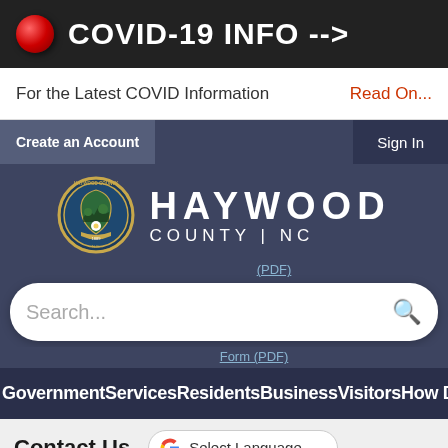🔴 COVID-19 INFO -->
For the Latest COVID Information   Read On...
Create an Account   Sign In
[Figure (logo): Haywood County NC seal and text logo]
(PDF)
Search...
Form (PDF)
Government Services Residents Business Visitors How Do I...
Contact Us   G Select Language ▼